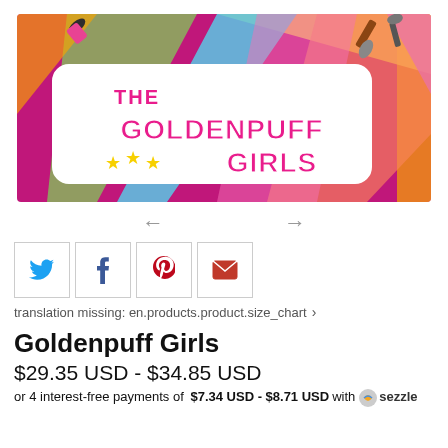[Figure (illustration): The Goldenpuff Girls product banner image on a hot pink background with colorful ray pattern and cartoon makeup items. Logo reads 'THE GOLDENPUFF GIRLS' with yellow stars.]
← →
[Figure (infographic): Social sharing icons: Twitter (blue bird), Facebook (blue f), Pinterest (red P), Email (red envelope), each in a bordered square box.]
translation missing: en.products.product.size_chart >
Goldenpuff Girls
$29.35 USD - $34.85 USD
or 4 interest-free payments of $7.34 USD - $8.71 USD with sezzle